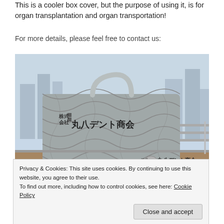This is a cooler box cover, but the purpose of using it, is for organ transplantation and organ transportation!
For more details, please feel free to contact us:
[Figure (photo): Photo of a gray quilted cooler box cover with Japanese text '丸八デント商会' on it, sitting on a table in front of a window with a city view. The cover has a handle on top.]
Privacy & Cookies: This site uses cookies. By continuing to use this website, you agree to their use.
To find out more, including how to control cookies, see here: Cookie Policy
Close and accept